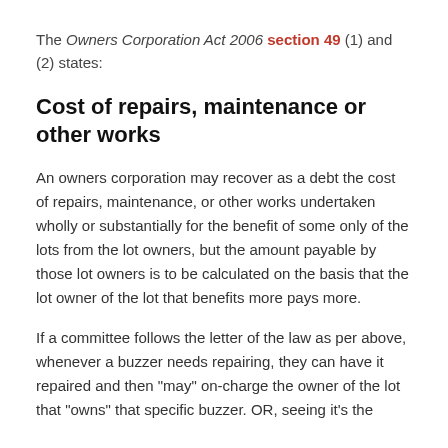The Owners Corporation Act 2006 section 49 (1) and (2) states:
Cost of repairs, maintenance or other works
An owners corporation may recover as a debt the cost of repairs, maintenance, or other works undertaken wholly or substantially for the benefit of some only of the lots from the lot owners, but the amount payable by those lot owners is to be calculated on the basis that the lot owner of the lot that benefits more pays more.
If a committee follows the letter of the law as per above, whenever a buzzer needs repairing, they can have it repaired and then "may" on-charge the owner of the lot that "owns" that specific buzzer. OR, seeing it's the